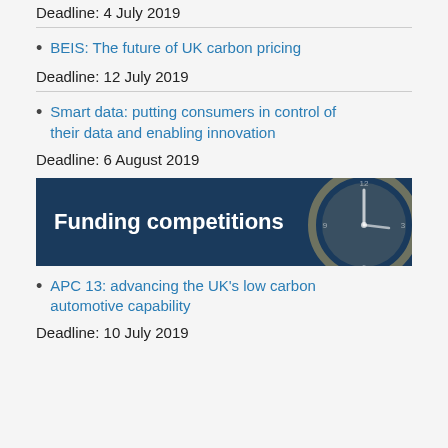Deadline: 4 July 2019
BEIS: The future of UK carbon pricing
Deadline: 12 July 2019
Smart data: putting consumers in control of their data and enabling innovation
Deadline: 6 August 2019
[Figure (illustration): Dark blue banner image with text 'Funding competitions' and a faded clock/Big Ben image on the right]
APC 13: advancing the UK's low carbon automotive capability
Deadline: 10 July 2019